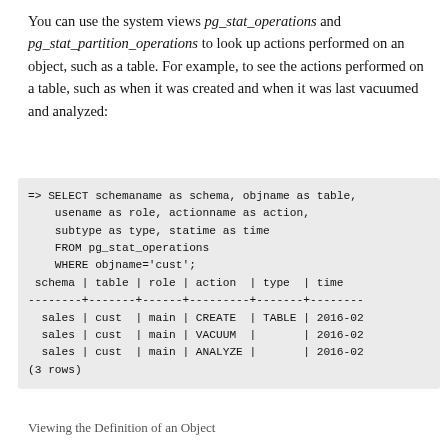You can use the system views pg_stat_operations and pg_stat_partition_operations to look up actions performed on an object, such as a table. For example, to see the actions performed on a table, such as when it was created and when it was last vacuumed and analyzed:
=> SELECT schemaname as schema, objname as table,
    usename as role, actionname as action,
    subtype as type, statime as time
    FROM pg_stat_operations
    WHERE objname='cust';
 schema | table | role | action  | type  | time
--------+-------+------+---------+-------+--------
  sales | cust  | main | CREATE  | TABLE | 2016-02
  sales | cust  | main | VACUUM  |       | 2016-02
  sales | cust  | main | ANALYZE |       | 2016-02
(3 rows)
Viewing the Definition of an Object